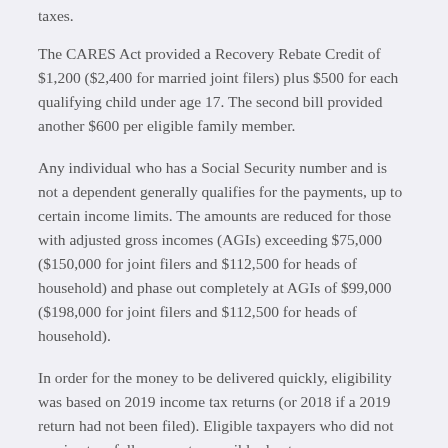taxes.
The CARES Act provided a Recovery Rebate Credit of $1,200 ($2,400 for married joint filers) plus $500 for each qualifying child under age 17. The second bill provided another $600 per eligible family member.
Any individual who has a Social Security number and is not a dependent generally qualifies for the payments, up to certain income limits. The amounts are reduced for those with adjusted gross incomes (AGIs) exceeding $75,000 ($150,000 for joint filers and $112,500 for heads of household) and phase out completely at AGIs of $99,000 ($198,000 for joint filers and $112,500 for heads of household).
In order for the money to be delivered quickly, eligibility was based on 2019 income tax returns (or 2018 if a 2019 return had not been filed). Eligible taxpayers who did not receive two full payments, possibly due to errors or processing delays, may claim the money as a Recovery